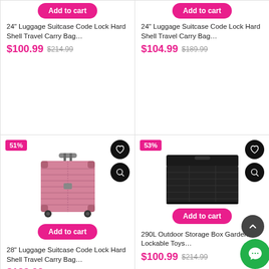[Figure (screenshot): E-commerce product grid with 4 items: two 24" suitcases on top row, 28" suitcase and outdoor storage box on bottom row]
Add to cart
24" Luggage Suitcase Code Lock Hard Shell Travel Carry Bag...
$100.99  $214.99
Add to cart
24" Luggage Suitcase Code Lock Hard Shell Travel Carry Bag...
$104.99  $189.99
51%
Add to cart
28" Luggage Suitcase Code Lock Hard Shell Travel Carry Bag...
$128.99  $264.99
53%
Add to cart
290L Outdoor Storage Box Garden Lockable Toys...
$100.99  $214.99